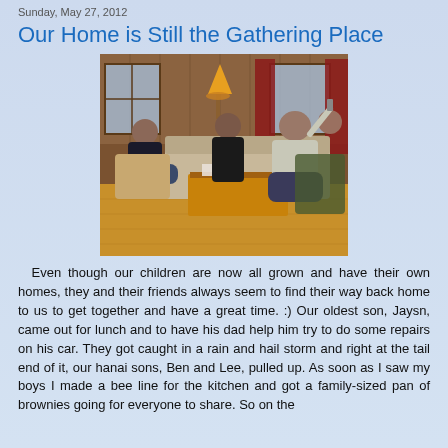Sunday, May 27, 2012
Our Home is Still the Gathering Place
[Figure (photo): Indoor gathering scene: several people seated in a living room with wood-paneled walls, red curtains, a lamp, and a wooden coffee table with items on it.]
Even though our children are now all grown and have their own homes, they and their friends always seem to find their way back home to us to get together and have a great time. :)  Our oldest son, Jaysn, came out for lunch and to have his dad help him try to do some repairs on his car.  They got caught in a rain and hail storm and right at the tail end of it, our hanai sons, Ben and Lee, pulled up.  As soon as I saw my boys I made a bee line for the kitchen and got a family-sized pan of brownies going for everyone to share.  So on the